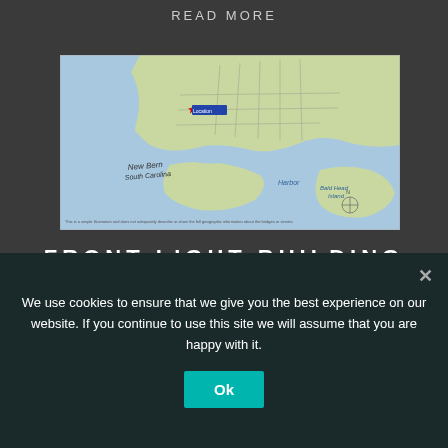READ MORE
[Figure (map): Illustrated map of New Bern, South Carolina area showing streets, waterways, Harbor, Bald Head Island, and surrounding areas. A red star marker indicates a location near the waterfront.]
FRONT LIGHT BUILDING
We use cookies to ensure that we give you the best experience on our website. If you continue to use this site we will assume that you are happy with it.